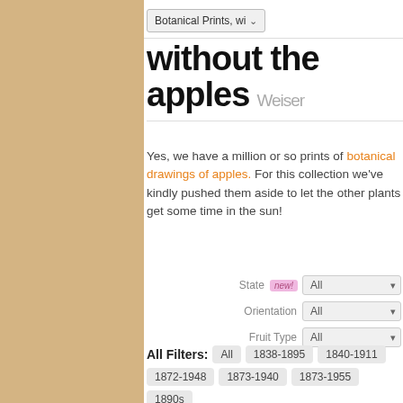[Figure (screenshot): Dropdown menu showing 'Botanical Prints, wi' with a chevron arrow]
without the apples  Weiser
Yes, we have a million or so prints of botanical drawings of apples. For this collection we've kindly pushed them aside to let the other plants get some time in the sun!
State new! All
Orientation All
Fruit Type All
All Filters: All  1838-1895  1840-1911
1872-1948  1873-1940  1873-1955  1890s